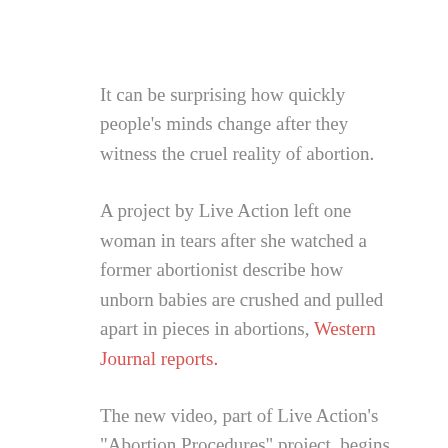It can be surprising how quickly people's minds change after they witness the cruel reality of abortion.

A project by Live Action left one woman in tears after she watched a former abortionist describe how unborn babies are crushed and pulled apart in pieces in abortions, Western Journal reports.

The new video, part of Live Action's "Abortion Procedures" project, begins with a young woman who says she does not like abortions